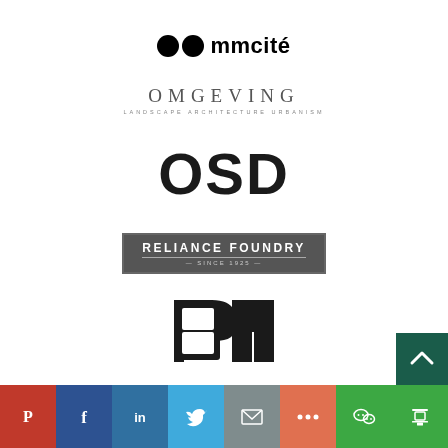[Figure (logo): mmcite logo — two black circles followed by text 'mmcite' in bold]
[Figure (logo): OMGEVING logo — large spaced serif letters with subtitle 'LANDSCAPE ARCHITECTURE URBANISM']
[Figure (logo): OSD logo — large bold black letters]
[Figure (logo): RELIANCE FOUNDRY logo — white text on dark grey rectangle with border, subtitle 'SINCE 1925']
[Figure (logo): SA partial logo — two black angular letterforms partially visible]
[Figure (infographic): Social sharing bar with Pinterest, Facebook, LinkedIn, Twitter, Email, More, WeChat, Douban icons]